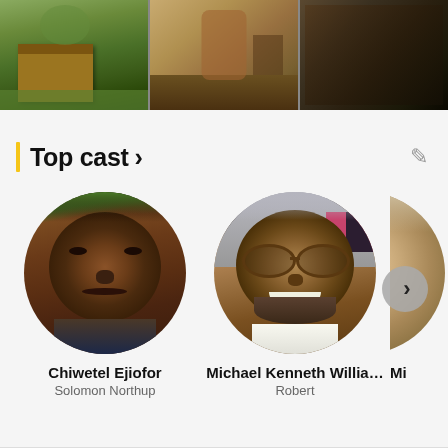[Figure (photo): Three stills from a film showing outdoor plantation/period scenes]
Top cast >
[Figure (photo): Circular portrait photo of Chiwetel Ejiofor]
Chiwetel Ejiofor
Solomon Northup
[Figure (photo): Circular portrait photo of Michael Kenneth Williams wearing glasses]
Michael Kenneth Willia...
Robert